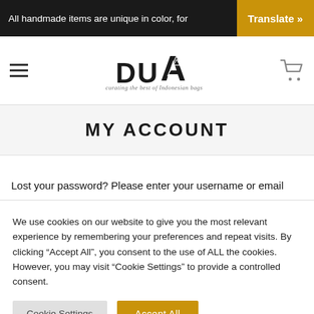All handmade items are unique in color, for… Translate »
[Figure (logo): DUA logo with mountain triangle graphic and tagline 'curating the best of Indonesian bags']
MY ACCOUNT
Lost your password? Please enter your username or email
We use cookies on our website to give you the most relevant experience by remembering your preferences and repeat visits. By clicking "Accept All", you consent to the use of ALL the cookies. However, you may visit "Cookie Settings" to provide a controlled consent.
Cookie Settings   Accept All